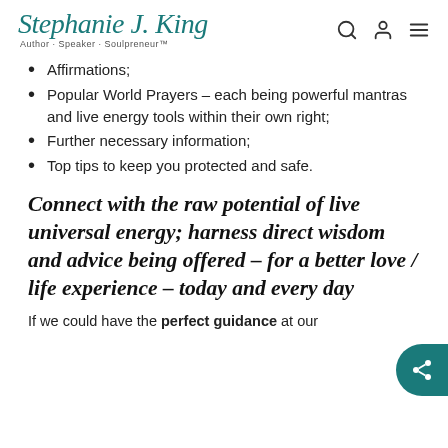Stephanie J. King — Author · Speaker · Soulpreneur™
Affirmations;
Popular World Prayers – each being powerful mantras and live energy tools within their own right;
Further necessary information;
Top tips to keep you protected and safe.
Connect with the raw potential of live universal energy; harness direct wisdom and advice being offered – for a better love / life experience – today and every day
If we could have the perfect guidance at our